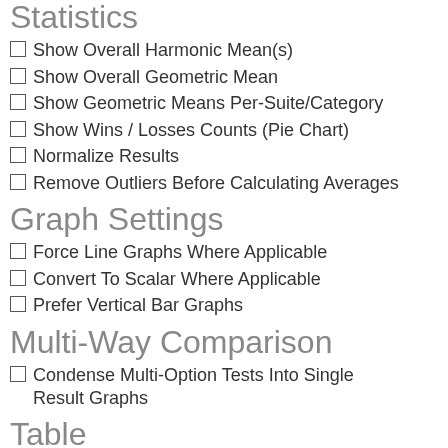Statistics
Show Overall Harmonic Mean(s)
Show Overall Geometric Mean
Show Geometric Means Per-Suite/Category
Show Wins / Losses Counts (Pie Chart)
Normalize Results
Remove Outliers Before Calculating Averages
Graph Settings
Force Line Graphs Where Applicable
Convert To Scalar Where Applicable
Prefer Vertical Bar Graphs
Multi-Way Comparison
Condense Multi-Option Tests Into Single Result Graphs
Table